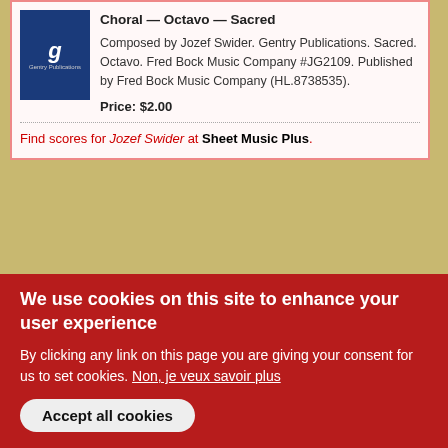Choral — Octavo — Sacred
Composed by Jozef Swider. Gentry Publications. Sacred. Octavo. Fred Bock Music Company #JG2109. Published by Fred Bock Music Company (HL.8738535).
Price: $2.00
Find scores for Jozef Swider at Sheet Music Plus.
Links:
https://de.wikipedia.org/wiki/J%C3%B3zef_%C5%9Awi...
https://pwm.com.pl/en/kompozytorzy_i_autorzy/5255/jozef-swider/index.html
https://culture.pl/pl/tworca/jozef-swider
Connectez-vous ou inscrivez-vous pour publier...
We use cookies on this site to enhance your user experience
By clicking any link on this page you are giving your consent for us to set cookies. Non, je veux savoir plus
Accept all cookies